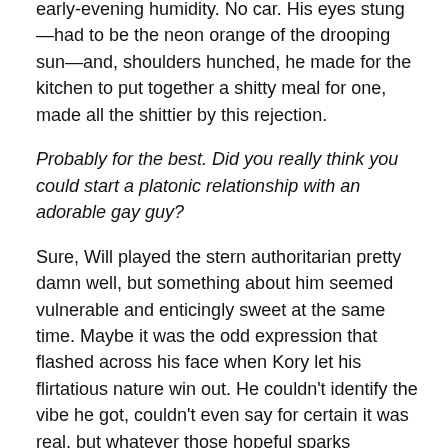early-evening humidity. No car. His eyes stung—had to be the neon orange of the drooping sun—and, shoulders hunched, he made for the kitchen to put together a shitty meal for one, made all the shittier by this rejection.
Probably for the best. Did you really think you could start a platonic relationship with an adorable gay guy?
Sure, Will played the stern authoritarian pretty damn well, but something about him seemed vulnerable and enticingly sweet at the same time. Maybe it was the odd expression that flashed across his face when Kory let his flirtatious nature win out. He couldn't identify the vibe he got, couldn't even say for certain it was real, but whatever those hopeful sparks followed by tiny frowns were, they called to Kory's most basic instincts.